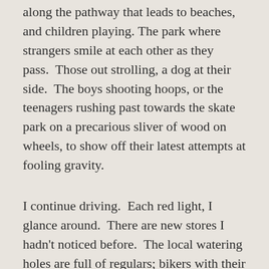along the pathway that leads to beaches, and children playing. The park where strangers smile at each other as they pass.  Those out strolling, a dog at their side.  The boys shooting hoops, or the teenagers rushing past towards the skate park on a precarious sliver of wood on wheels, to show off their latest attempts at fooling gravity.
I continue driving.  Each red light, I glance around.  There are new stores I hadn't noticed before.  The local watering holes are full of regulars; bikers with their leather and fringe, the retired who have claimed their seats just short distance from their classic cars, their pride and joy. The ladies sauntering back and